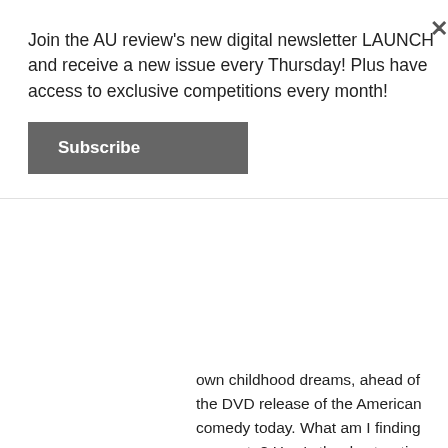Join the AU review's new digital newsletter LAUNCH and receive a new issue every Thursday! Plus have access to exclusive competitions every month!
Subscribe
own childhood dreams, ahead of the DVD release of the American comedy today. What am I finding you up to? How's the day treating you? It's fantastic. I live away from LA now, so [...]
READ MORE
[Figure (photo): Movie promotional image showing actors from 'Now You See Me 2' — a man in suit in foreground with multiple faces in background on a dark background]
Watch The New Trailer For Now You See Me 2
November 19, 2015